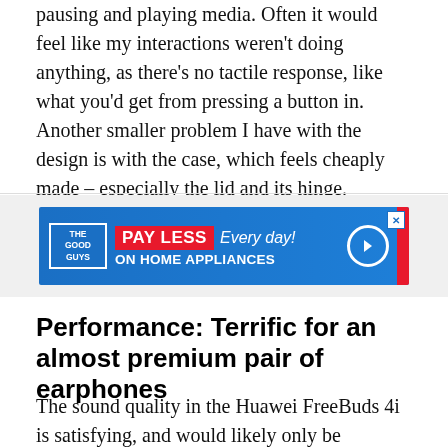pausing and playing media. Often it would feel like my interactions weren't doing anything, as there's no tactile response, like what you'd get from pressing a button in. Another smaller problem I have with the design is with the case, which feels cheaply made – especially the lid and its hinge.
[Figure (infographic): Advertisement banner for The Good Guys: 'PAY LESS Every day! ON HOME APPLIANCES' with arrow button on blue background and red stripe accent.]
Performance: Terrific for an almost premium pair of earphones
The sound quality in the Huawei FreeBuds 4i is satisfying, and would likely only be improved to the